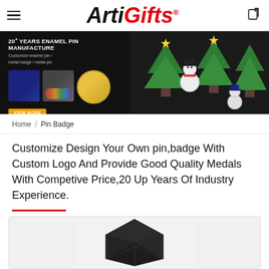ArtiGifts®
[Figure (photo): Banner showing enamel pin products with Christmas tree and snowman pins on black background. Text: 20+ YEARS ENAMEL PIN MANUFACTURE. Customize enamel pin / metal badge / metal pin. VIEW MORE button.]
Home / Pin Badge
Customize Design Your Own pin,badge With Custom Logo And Provide Good Quality Medals With Competive Price,20 Up Years Of Industry Experience.
[Figure (photo): Product photo of a dark black metal pin badge/medal with geometric hexagonal design, shown from above on white background, partially cropped.]